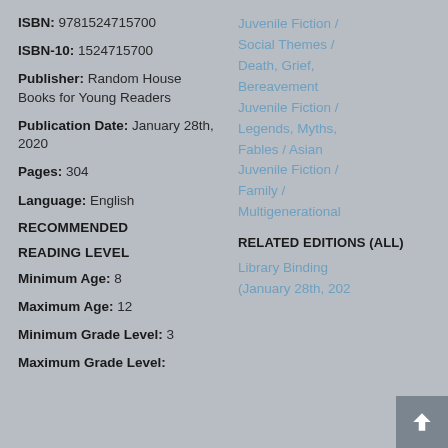ISBN: 9781524715700
ISBN-10: 1524715700
Publisher: Random House Books for Young Readers
Publication Date: January 28th, 2020
Pages: 304
Language: English
RECOMMENDED READING LEVEL
Minimum Age: 8
Maximum Age: 12
Minimum Grade Level: 3
Maximum Grade Level:
Juvenile Fiction / Social Themes / Death, Grief, Bereavement Juvenile Fiction / Legends, Myths, Fables / Asian Juvenile Fiction / Family / Multigenerational
RELATED EDITIONS (ALL)
Library Binding (January 28th, 202…